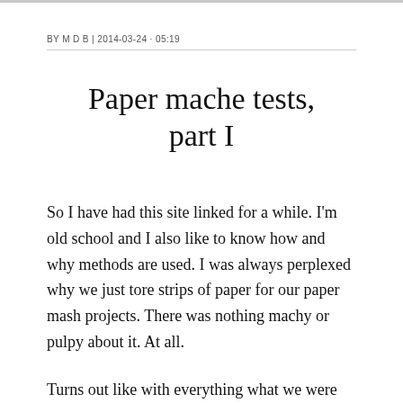BY M D B | 2014-03-24 · 05:19
Paper mache tests, part I
So I have had this site linked for a while. I'm old school and I also like to know how and why methods are used. I was always perplexed why we just tore strips of paper for our paper mash projects. There was nothing machy or pulpy about it. At all.
Turns out like with everything what we were taught in school was “lies to